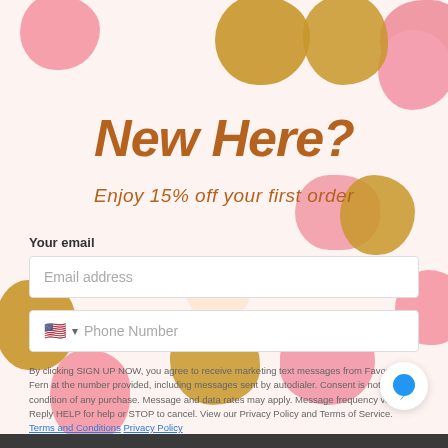New Here?
Enjoy 15% off your first order
Your email
Email address
Phone Number
By clicking SIGN UP NOW, you agree to receive marketing text messages from Favor & Fern at the number provided, including messages sent by autodialer. Consent is not a condition of any purchase. Message and data rates may apply. Message frequency varies. Reply HELP for help or STOP to cancel. View our Privacy Policy and Terms of Service. Terms and Conditions  Privacy Policy
Sign Up Now